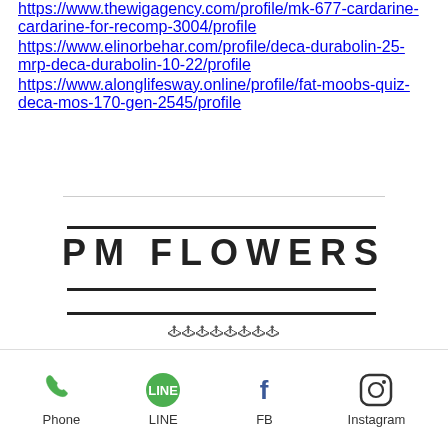https://www.thewigagency.com/profile/mk-677-cardarine-cardarine-for-recomp-3004/profile https://www.elinorbehar.com/profile/deca-durabolin-25-mrp-deca-durabolin-10-22/profile https://www.alonglifesway.online/profile/fat-moobs-quiz-deca-mos-170-gen-2545/profile
PM FLOWERS
🌸🌸🌸🌸🌸🌸🌸🌸
Phone  LINE  FB  Instagram